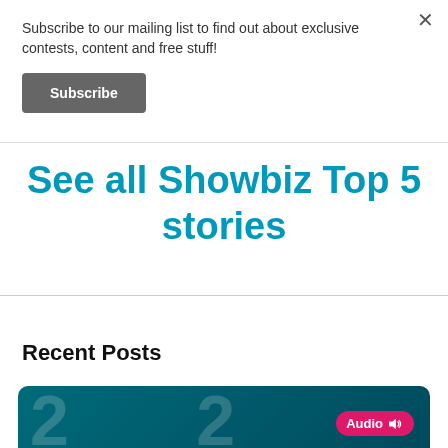Subscribe to our mailing list to find out about exclusive contests, content and free stuff!
Subscribe
See all Showbiz Top 5 stories
Recent Posts
[Figure (screenshot): Partial view of a media card strip with teal background showing large watermark numbers and an Audio badge in pink/magenta on the right.]